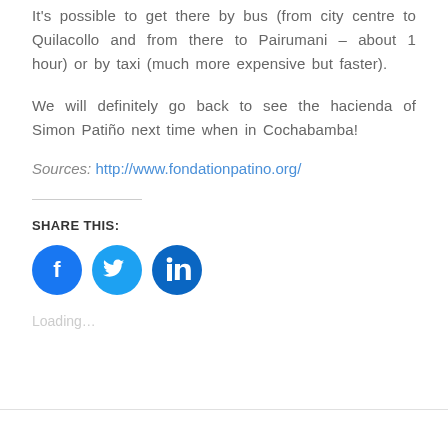It's possible to get there by bus (from city centre to Quilacollo and from there to Pairumani – about 1 hour) or by taxi (much more expensive but faster).
We will definitely go back to see the hacienda of Simon Patiño next time when in Cochabamba!
Sources: http://www.fondationpatino.org/
SHARE THIS:
[Figure (infographic): Three circular social share buttons: Facebook (blue), Twitter (light blue), LinkedIn (dark blue)]
Loading...